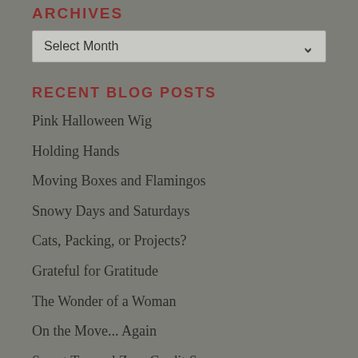ARCHIVES
Select Month
RECENT BLOG POSTS
Pink Halloween Wig
Holding Hands
Moving Boxes and Flamingos
Snowy Days and Saturdays
Cats, Packing, or Projects?
Grateful for Gratitude
The Wonder of a Woman
On the Move... Again
Sweet Tea and Zero Credit Scores
Not So Bad Being Me